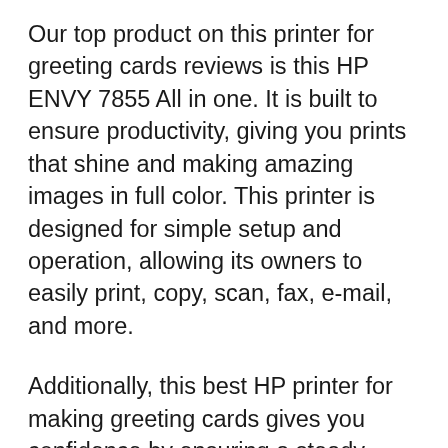Our top product on this printer for greeting cards reviews is this HP ENVY 7855 All in one. It is built to ensure productivity, giving you prints that shine and making amazing images in full color. This printer is designed for simple setup and operation, allowing its owners to easily print, copy, scan, fax, e-mail, and more.
Additionally, this best HP printer for making greeting cards gives you confidence by ensuring a steady dual-band Wi-Fi connection. Wireless connection capabilities allow an easy setup and print directly from your smartphone or scan and share via e-mail or cloud storage. Also, this all-in-one device is not limited only to printing greeting cards; you can also print other documents